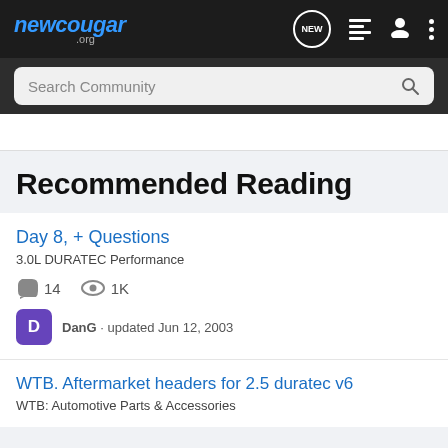newcougar.org
Search Community
Recommended Reading
Day 8, + Questions
3.0L DURATEC Performance
14 comments · 1K views
DanG · updated Jun 12, 2003
WTB. Aftermarket headers for 2.5 duratec v6
WTB: Automotive Parts & Accessories